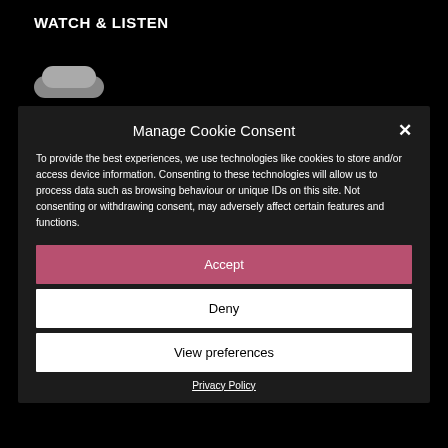WATCH & LISTEN
[Figure (logo): A stylized logo icon, grey/white shape resembling a rounded top or arch]
Manage Cookie Consent
To provide the best experiences, we use technologies like cookies to store and/or access device information. Consenting to these technologies will allow us to process data such as browsing behaviour or unique IDs on this site. Not consenting or withdrawing consent, may adversely affect certain features and functions.
Accept
Deny
View preferences
Privacy Policy